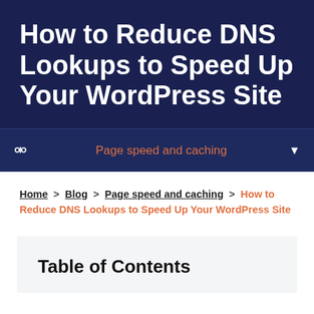How to Reduce DNS Lookups to Speed Up Your WordPress Site
Page speed and caching
Home > Blog > Page speed and caching > How to Reduce DNS Lookups to Speed Up Your WordPress Site
Table of Contents